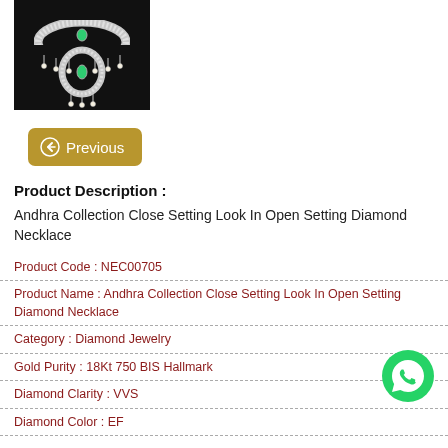[Figure (photo): Diamond necklace jewelry product photo on dark background showing ornate necklace with emerald green gems and pearl drops]
Previous
Product Description :
Andhra Collection Close Setting Look In Open Setting Diamond Necklace
Product Code : NEC00705
Product Name : Andhra Collection Close Setting Look In Open Setting Diamond Necklace
Category : Diamond Jewelry
Gold Purity : 18Kt 750 BIS Hallmark
Diamond Clarity : VVS
Diamond Color : EF